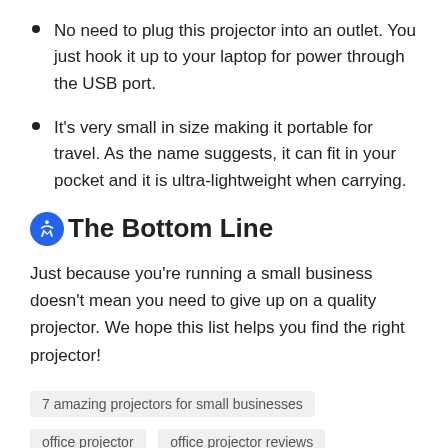No need to plug this projector into an outlet. You just hook it up to your laptop for power through the USB port.
It's very small in size making it portable for travel. As the name suggests, it can fit in your pocket and it is ultra-lightweight when carrying.
The Bottom Line
Just because you're running a small business doesn't mean you need to give up on a quality projector. We hope this list helps you find the right projector!
7 amazing projectors for small businesses
office projector   office projector reviews